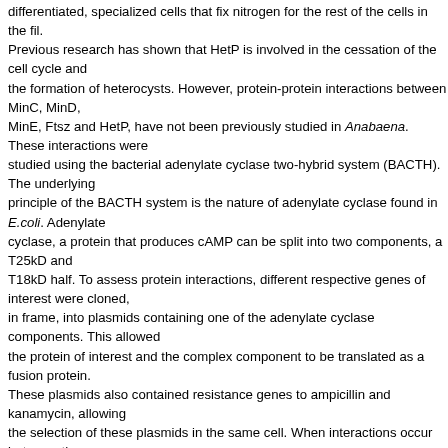differentiated, specialized cells that fix nitrogen for the rest of the cells in the fil. Previous research has shown that HetP is involved in the cessation of the cell cycle and the formation of heterocysts. However, protein-protein interactions between MinC, MinD, MinE, Ftsz and HetP, have not been previously studied in Anabaena. These interactions studied using the bacterial adenylate cyclase two-hybrid system (BACTH). The underlying principle of the BACTH system is the nature of adenylate cyclase found in E.coli. Adenylate cyclase, a protein that produces cAMP can be split into two components, a T25kD and T18kD half. To assess protein interactions, different respective genes of interest were cloned, in frame, into plasmids containing one of the adenylate cyclase components. This allowed the protein of interest and the complex component to be translated as a fusion protein. These plasmids also contained resistance genes to ampicillin and kanamycin, allowing the selection of these plasmids in the same cell. When interactions occur between the proteins of interest, the two components of adenylate cyclase come together and produce cAMP. As cAMP levels rise in the cell, cAMP binds to the catabolite activator protein, a transcription factor, and activates it. When CAP is activated, it binds to the lac operon, resulting in the transcription of β-galactosidase. The production of β-galactosidase was analyzed on antibiotic selective plates containing X-Gal, a compound that turns colonies of E.coli blue was β-galactosidase is present. Using this system, each possible combination of the proteins of interest was assessed by the degree of "blueness" seen on the plates. The degree of "blueness" was compared directly to a positive control, DivIVA, a strain known to create the interaction between the adenylate cyclase halves, and a negative control that consisted only of empty vectors that did not produce any interaction. Taken together, this revealed the protein-protein interactions within the heterocyst of Anabaena sp. strain PCC 7120.